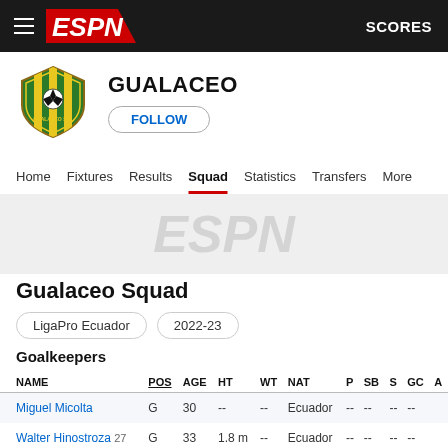ESPN — SCORES
GUALACEO
FOLLOW
Home  Fixtures  Results  Squad  Statistics  Transfers  More
[Figure (logo): ESPN watermark logo in gray]
Gualaceo Squad
LigaPro Ecuador    2022-23
Goalkeepers
| NAME | POS | AGE | HT | WT | NAT | P | SB | S | GC | A |
| --- | --- | --- | --- | --- | --- | --- | --- | --- | --- | --- |
| Miguel Micolta | G | 30 | -- | -- | Ecuador | -- | -- | -- | -- |  |
| Walter Hinostroza 27 | G | 33 | 1.8 m | -- | Ecuador | -- | -- | -- | -- |  |